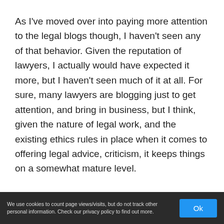As I've moved over into paying more attention to the legal blogs though, I haven't seen any of that behavior. Given the reputation of lawyers, I actually would have expected it more, but I haven't seen much of it at all. For sure, many lawyers are blogging just to get attention, and bring in business, but I think, given the nature of legal work, and the existing ethics rules in place when it comes to offering legal advice, criticism, it keeps things on a somewhat mature level.
Maybe I just haven't been around the legal blogosphere long enough to have noticed. On the
We use cookies to count page views/visits, but do not track other personal information. Check our privacy policy to find out more.